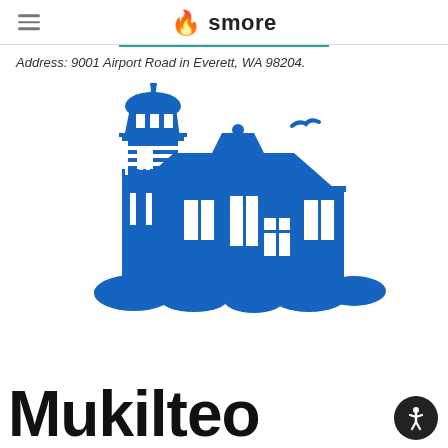smore
Address: 9001 Airport Road in Everett, WA 98204.
[Figure (logo): Blue lighthouse building logo — Mukilteo city logo showing a lighthouse tower with adjacent keeper's house, decorative fence, bird in flight, and shrubs at the base, rendered in solid blue silhouette style]
Mukilteo